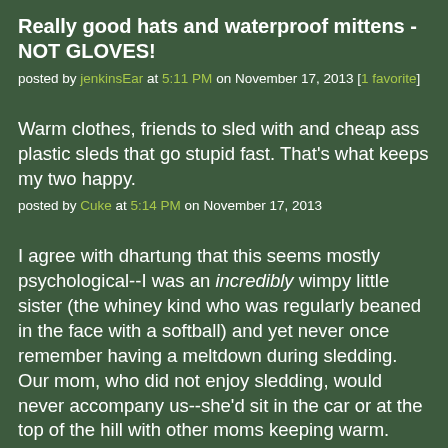Really good hats and waterproof mittens - NOT GLOVES!
posted by jenkinsEar at 5:11 PM on November 17, 2013 [1 favorite]
Warm clothes, friends to sled with and cheap ass plastic sleds that go stupid fast. That's what keeps my two happy.
posted by Cuke at 5:14 PM on November 17, 2013
I agree with dhartung that this seems mostly psychological--I was an incredibly wimpy little sister (the whiney kind who was regularly beaned in the face with a softball) and yet never once remember having a meltdown during sledding. Our mom, who did not enjoy sledding, would never accompany us--she'd sit in the car or at the top of the hill with other moms keeping warm. Sometimes our dad would, but his whole attitude about the endeavor was, "gee whiz fun!"